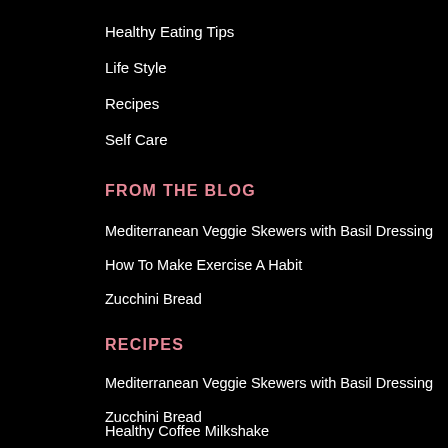Healthy Eating Tips
Life Style
Recipes
Self Care
FROM THE BLOG
Mediterranean Veggie Skewers with Basil Dressing
How To Make Exercise A Habit
Zucchini Bread
RECIPES
Mediterranean Veggie Skewers with Basil Dressing
Zucchini Bread
Healthy Coffee Milkshake